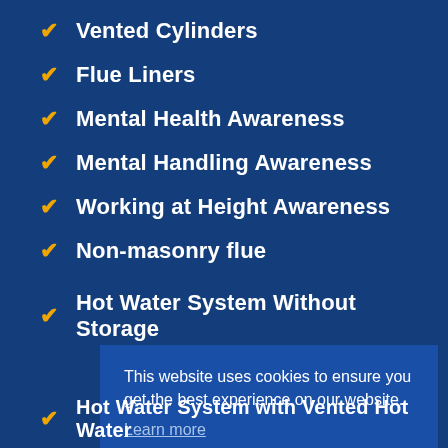Vented Cylinders
Flue Liners
Mental Health Awareness
Mental Handling Awareness
Working at Height Awareness
Non-masonry flue
Hot Water System Without Storage
This website uses cookies to ensure you get the best experience on our website.
Learn more
Got it
Hot Water System with Vented Hot Water